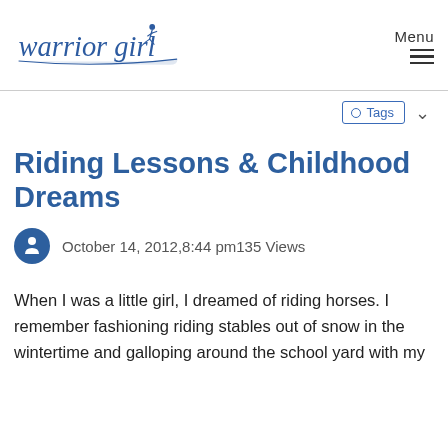warrior girl [logo] | Menu
[Figure (logo): Warrior Girl logo with cursive text and running girl figure on a surfboard/leaf shape, in navy blue]
Riding Lessons & Childhood Dreams
October 14, 2012,8:44 pm135 Views
When I was a little girl, I dreamed of riding horses. I remember fashioning riding stables out of snow in the wintertime and galloping around the school yard with my